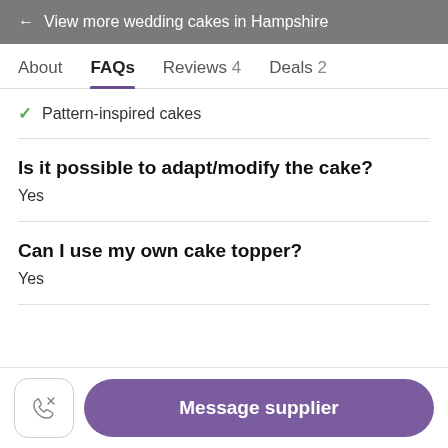← View more wedding cakes in Hampshire
About  FAQs  Reviews 4  Deals 2
✓ Pattern-inspired cakes
Is it possible to adapt/modify the cake?
Yes
Can I use my own cake topper?
Yes
Message supplier